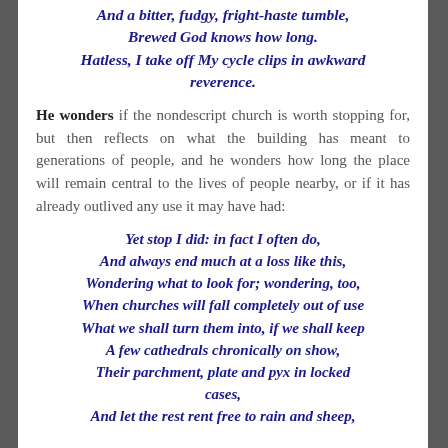And a bitter, fudgy, fright-haste tumble, / Brewed God knows how long. / Hatless, I take off My cycle clips in awkward reverence.
He wonders if the nondescript church is worth stopping for, but then reflects on what the building has meant to generations of people, and he wonders how long the place will remain central to the lives of people nearby, or if it has already outlived any use it may have had:
Yet stop I did: in fact I often do, / And always end much at a loss like this, / Wondering what to look for; wondering, too, / When churches will fall completely out of use / What we shall turn them into, if we shall keep / A few cathedrals chronically on show, / Their parchment, plate and pyx in locked cases, / And let the rest rent free to rain and sheep,